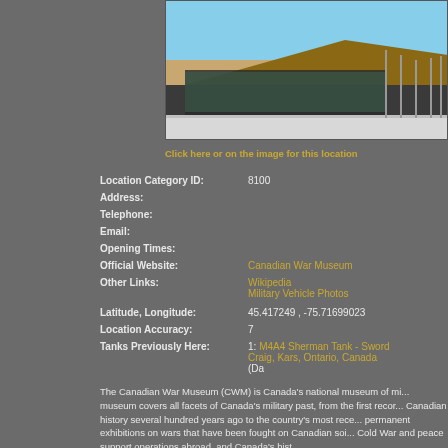[Figure (photo): Exterior photo of the Canadian War Museum building, showing modern architecture with angular roof and flagpoles]
Click here or on the image for this location
Location Category ID: 8100
Address:
Telephone:
Email:
Opening Times:
Official Website: Canadian War Museum
Other Links: Wikipedia
Military Vehicle Photos
Latitude, Longitude: 45.417249 , -75.71699023
Location Accuracy: 7
Tanks Previously Here: 1: M4A4 Sherman Tank - Sword Craig, Kars, Ontario, Canada (Da
The Canadian War Museum (CWM) is Canada's national museum of mi... museum covers all facets of Canada's military past, from the first recor... Canadian history several hundred years ago to the country's most rece... permanent exhibitions on wars that have been fought on Canadian soi... Cold War and peace support operations abroad, and Canada's hist...